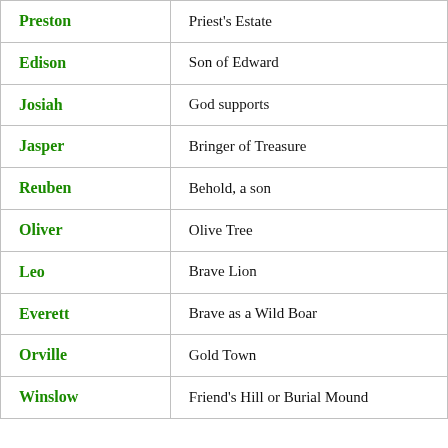| Name | Meaning |
| --- | --- |
| Preston | Priest's Estate |
| Edison | Son of Edward |
| Josiah | God supports |
| Jasper | Bringer of Treasure |
| Reuben | Behold, a son |
| Oliver | Olive Tree |
| Leo | Brave Lion |
| Everett | Brave as a Wild Boar |
| Orville | Gold Town |
| Winslow | Friend's Hill or Burial Mound |